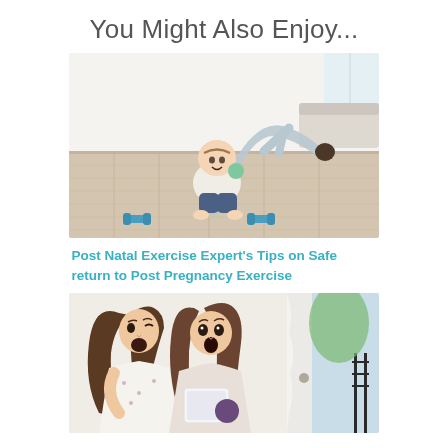You Might Also Enjoy...
[Figure (photo): A baby sitting on a wooden floor holding a toy, with a woman doing a yoga downward dog pose behind the baby in a bright white room.]
Post Natal Exercise Expert's Tips on Safe return to Post Pregnancy Exercise
[Figure (photo): Two women with long brown hair sitting together looking at something, appearing surprised or excited, with a bright window and curtain in the background.]